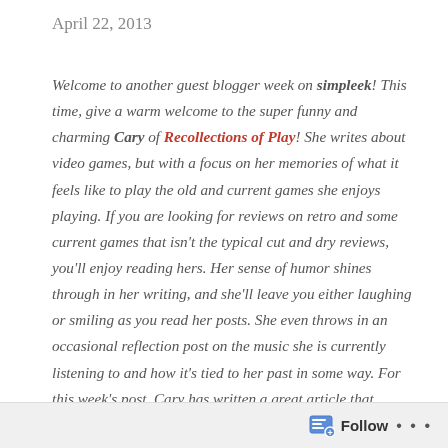April 22, 2013
Welcome to another guest blogger week on simpleek! This time, give a warm welcome to the super funny and charming Cary of Recollections of Play! She writes about video games, but with a focus on her memories of what it feels like to play the old and current games she enjoys playing. If you are looking for reviews on retro and some current games that isn't the typical cut and dry reviews, you'll enjoy reading hers. Her sense of humor shines through in her writing, and she'll leave you either laughing or smiling as you read her posts. She even throws in an occasional reflection post on the music she is currently listening to and how it's tied to her past in some way. For this week's post, Cary has written a great article that combines fashion and video games together. She gushes over her love for dressing up the characters of Fable, and if you enjoy character
Follow ...